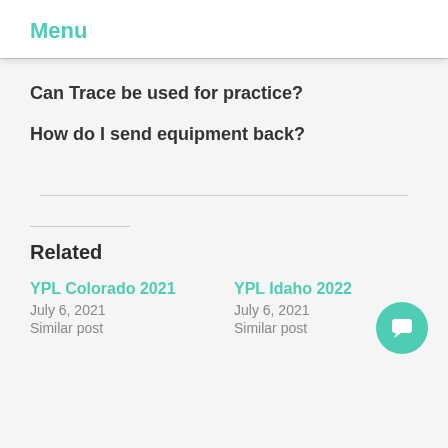Menu
Can Trace be used for practice?
How do I send equipment back?
Related
YPL Colorado 2021
July 6, 2021
Similar post
YPL Idaho 2022
July 6, 2021
Similar post